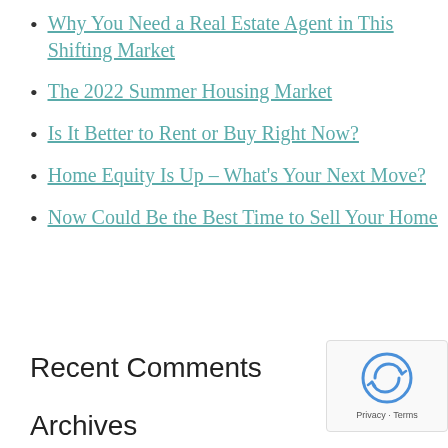Why You Need a Real Estate Agent in This Shifting Market
The 2022 Summer Housing Market
Is It Better to Rent or Buy Right Now?
Home Equity Is Up – What's Your Next Move?
Now Could Be the Best Time to Sell Your Home
Recent Comments
Archives